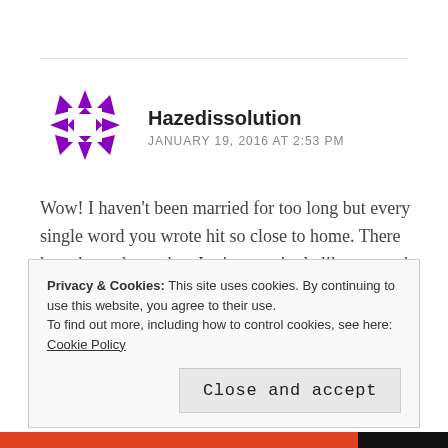[Figure (illustration): Purple geometric avatar/logo icon for user Hazedissolution]
Hazedissolution
JANUARY 19, 2016 AT 2:53 PM
Wow! I haven't been married for too long but every single word you wrote hit so close to home. There have been days when I miss my single like so much it physically hurts.. But try to keep moving forward.
Thanks for a wonderful article. May Allah grant you
Privacy & Cookies: This site uses cookies. By continuing to use this website, you agree to their use.
To find out more, including how to control cookies, see here: Cookie Policy
Close and accept